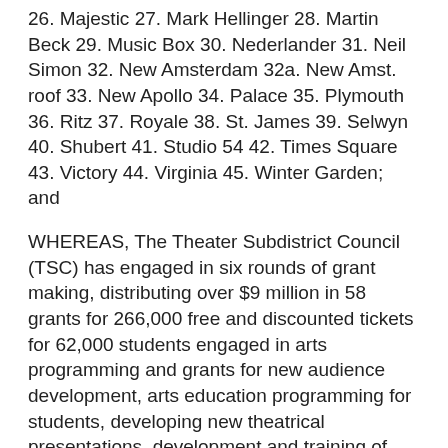26. Majestic 27. Mark Hellinger 28. Martin Beck 29. Music Box 30. Nederlander 31. Neil Simon 32. New Amsterdam 32a. New Amst. roof 33. New Apollo 34. Palace 35. Plymouth 36. Ritz 37. Royale 38. St. James 39. Selwyn 40. Shubert 41. Studio 54 42. Times Square 43. Victory 44. Virginia 45. Winter Garden; and
WHEREAS, The Theater Subdistrict Council (TSC) has engaged in six rounds of grant making, distributing over $9 million in 58 grants for 266,000 free and discounted tickets for 62,000 students engaged in arts programming and grants for new audience development, arts education programming for students, developing new theatrical presentations, development and training of non-performing professionals in the theater and promoting diversity in the field; and
WHEREAS, The TSC administers the Theater...